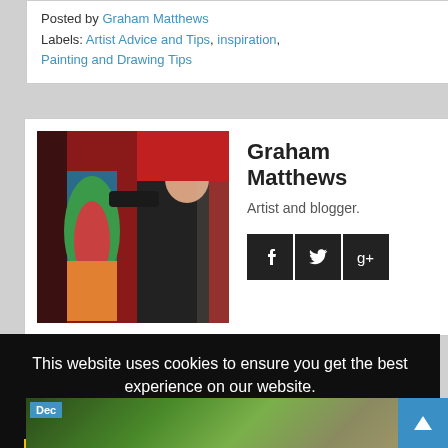Posted by Graham Matthews
Labels: Artist Advice and Tips, inspiration, Painting and Drawing Tips
Graham Matthews
Artist and blogger.
[Figure (photo): Photo of Graham Matthews painting in a studio with red background and colorful artwork]
This website uses cookies to ensure you get the best experience on our website.
Learn more
Got it!
[Figure (photo): Thumbnail image with Dec label]